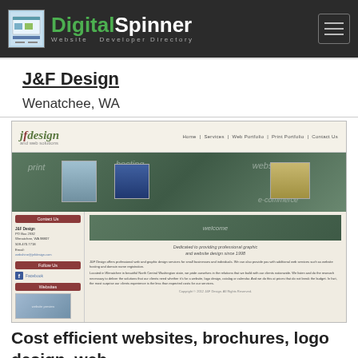DigitalSpinner Website Developer Directory
J&F Design
Wenatchee, WA
[Figure (screenshot): Screenshot of the J&F Design website showing logo, navigation bar with Home, Services, Web Portfolio, Print Portfolio, Contact Us, a hero banner with print, hosting, website, e-commerce sections with thumbnail images, a sidebar with Contact Us, Follow Us, Websites sections, and main content area with welcome image and company description text. Copyright notice at bottom.]
Cost efficient websites, brochures, logo design, web